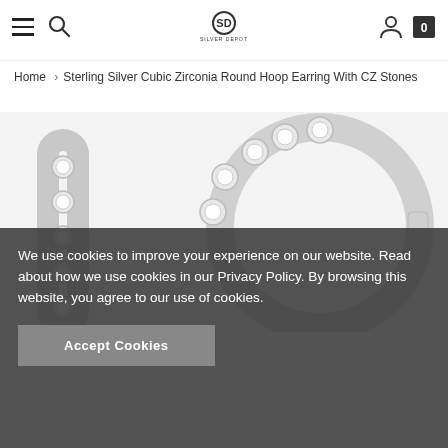Silver Depot — Navigation header with hamburger menu, search, logo, account and cart icons
Home › Sterling Silver Cubic Zirconia Round Hoop Earring With CZ Stones
[Figure (photo): Close-up photo of sterling silver cubic zirconia round hoop earrings showing diamond-like CZ stones set in prongs along the hoop.]
We use cookies to improve your experience on our website. Read about how we use cookies in our Privacy Policy. By browsing this website, you agree to our use of cookies.
Accept Cookies